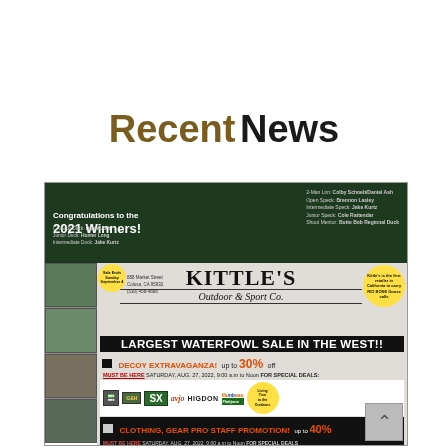Recent News
[Figure (photo): Advertisement for Kittle's Outdoor & Sport Co. featuring 2021 Winners congratulations banner at top (dark green) and large waterfowl sale advertisement below with decoy extravaganza offering up to 30% off and clothing/gear pro staff promotion up to 40% off, must be present Saturday, Aug. 27, 2022, 9:00 a.m. to Noon for special deals. Various brand logos shown including SX, Avian, HIGDON, Flambeau.]